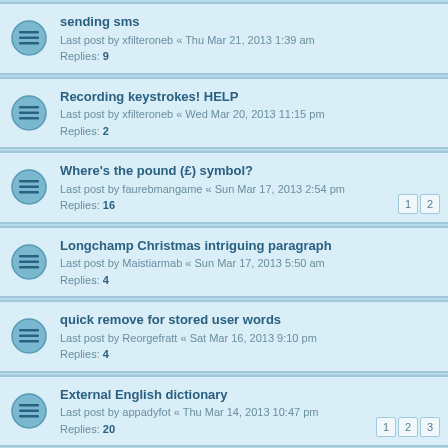sending sms
Last post by xfilteroneb « Thu Mar 21, 2013 1:39 am
Replies: 9
Recording keystrokes! HELP
Last post by xfilteroneb « Wed Mar 20, 2013 11:15 pm
Replies: 2
Where's the pound (£) symbol?
Last post by faurebmangame « Sun Mar 17, 2013 2:54 pm
Replies: 16
Longchamp Christmas intriguing paragraph
Last post by Maistiarmab « Sun Mar 17, 2013 5:50 am
Replies: 4
quick remove for stored user words
Last post by Reorgefratt « Sat Mar 16, 2013 9:10 pm
Replies: 4
External English dictionary
Last post by appadyfot « Thu Mar 14, 2013 10:47 pm
Replies: 20
Swipe-like Keyboard?
Last post by xfilteroneb « Mon Mar 11, 2013 5:56 am
Replies: 2
Disable predictive text free version?
Last post by xfilteroneb « Mon Mar 11, 2013 12:42 am
Replies: 5
Underline
Last post by xfilteroneb « Sun Mar 10, 2013 12:35 am